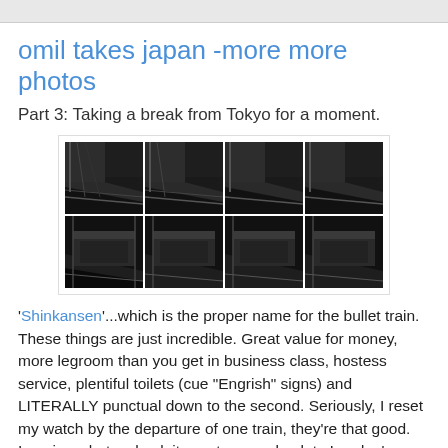omil takes japan -more more photos
Part 3: Taking a break from Tokyo for a moment.
[Figure (photo): A 4x2 grid of repeated train station platform photos showing the Shinkansen bullet train.]
'Shinkansen'...which is the proper name for the bullet train. These things are just incredible. Great value for money, more legroom than you get in business class, hostess service, plentiful toilets (cue "Engrish" signs) and LITERALLY punctual down to the second. Seriously, I reset my watch by the departure of one train, they're that good. Imagine what a shock it was to come back to London's dilapidated excuse for a massed transport system.